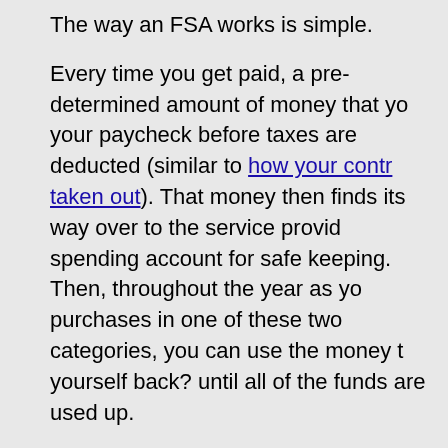The way an FSA works is simple.
Every time you get paid, a pre-determined amount of money that you your paycheck before taxes are deducted (similar to how your contr taken out). That money then finds its way over to the service provid spending account for safe keeping. Then, throughout the year as yo purchases in one of these two categories, you can use the money t yourself back? until all of the funds are used up.
Why not just forget the FSA and set the money aside yourself?
In one word: Taxes.
The fact that this money comes out free of taxes is a huge benefit!
How big??Let?s take a look at how much money you actually end u flexible spending account.
Dependent Care
It wasn?t that long ago that my children were little and had to go to wife and I worked. We would always joke that daycare was the ?sec payment? that we?d write every month. Man, we really needed a br
It was about this time that we first noticed that my wife?s work was